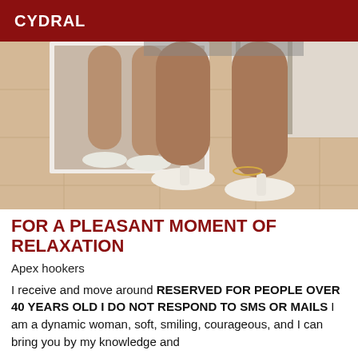CYDRAL
[Figure (photo): Close-up photo of a woman's legs wearing white high heels, standing on a tiled floor in front of a white-framed mirror that reflects her legs and shoes.]
FOR A PLEASANT MOMENT OF RELAXATION
Apex hookers
I receive and move around RESERVED FOR PEOPLE OVER 40 YEARS OLD I DO NOT RESPOND TO SMS OR MAILS I am a dynamic woman, soft, smiling, courageous, and I can bring you by my knowledge and